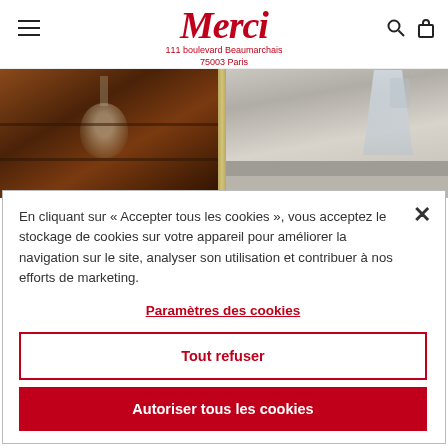Merci — 111 boulevard Beaumarchais 75003 Paris
[Figure (photo): Two product photos side by side: left shows a wooden shelf with a glass globe hanging lamp; right shows a glass carafe on a grey stone surface with brass frame]
En cliquant sur « Accepter tous les cookies », vous acceptez le stockage de cookies sur votre appareil pour améliorer la navigation sur le site, analyser son utilisation et contribuer à nos efforts de marketing.
Paramètres des cookies
Tout refuser
Autoriser tous les cookies